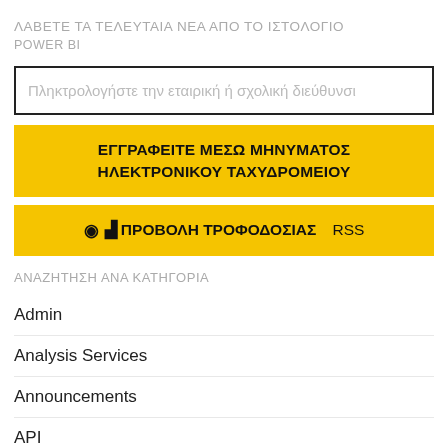ΛΑΒΕΤΕ ΤΑ ΤΕΛΕΥΤΑΙΑ ΝΕΑ ΑΠΟ ΤΟ ΙΣΤΟΛΟΓΙΟ POWER BI
Πληκτρολογήστε την εταιρική ή σχολική διεύθυνσι
ΕΓΓΡΑΦΕΙΤΕ ΜΕΣΩ ΜΗΝΥΜΑΤΟΣ ΗΛΕΚΤΡΟΝΙΚΟΥ ΤΑΧΥΔΡΟΜΕΙΟΥ
ᯣ ΠΡΟΒΟΛΗ ΤΡΟΦΟΔΟΣΙΑΣ RSS
ΑΝΑΖΗΤΗΣΗ ΑΝΑ ΚΑΤΗΓΟΡΙΑ
Admin
Analysis Services
Announcements
API
Archive